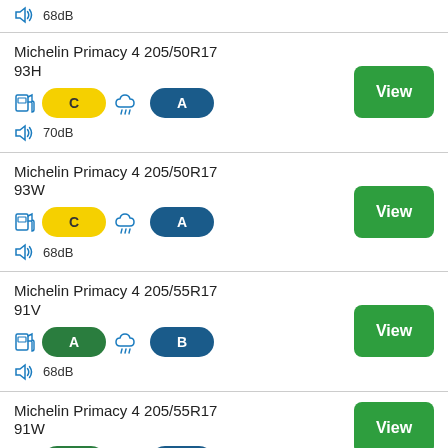68dB (top entry, partial)
Michelin Primacy 4 205/50R17 93H — C, rain A — 70dB — View
Michelin Primacy 4 205/50R17 93W — C, rain A — 68dB — View
Michelin Primacy 4 205/55R17 91V — A, rain B — 68dB — View
Michelin Primacy 4 205/55R17 91W — A, rain B — View (partial)